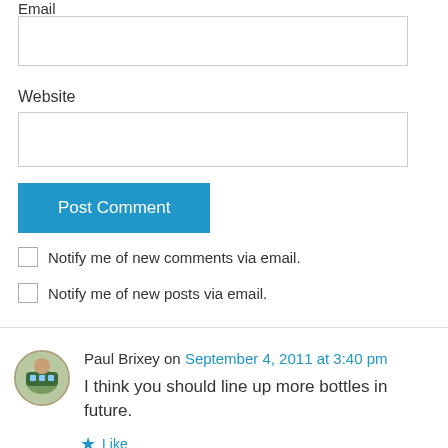Email
Website
Post Comment
Notify me of new comments via email.
Notify me of new posts via email.
Paul Brixey on September 4, 2011 at 3:40 pm
I think you should line up more bottles in future.
Like